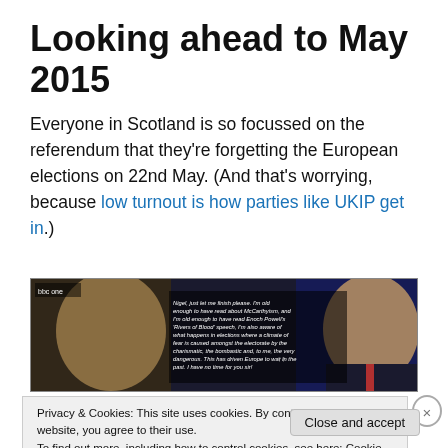Looking ahead to May 2015
Everyone in Scotland is so focussed on the referendum that they're forgetting the European elections on 22nd May. (And that's worrying, because low turnout is how parties like UKIP get in.)
[Figure (screenshot): BBC One TV screenshot showing two men in a debate with subtitle text: 'Nigel, just let me finish please. I'm old enough to have read about McCarthyism, and I'm old enough to have read Enoch Powell's Rivers of Blood speech, I'm also aware of what happens in elections where a climate of fear is caused amongst the electorate by the charismatic, the bombastic and, to me, the very dangerous. This has driven Europe to war in the past. I have no time for you sir!']
Privacy & Cookies: This site uses cookies. By continuing to use this website, you agree to their use.
To find out more, including how to control cookies, see here: Cookie Policy
Close and accept